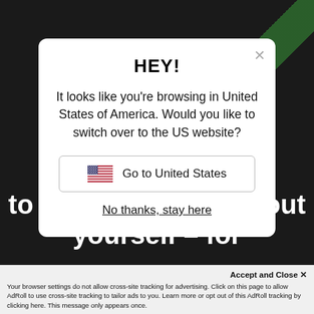[Figure (screenshot): Screenshot of a website with a dark background and green diagonal stripe, showing a modal dialog overlay.]
HEY!
It looks like you're browsing in United States of America. Would you like to switch over to the US website?
Go to United States
No thanks, stay here
to figure everything out yourself – for
Accept and Close ✕
Your browser settings do not allow cross-site tracking for advertising. Click on this page to allow AdRoll to use cross-site tracking to tailor ads to you. Learn more or opt out of this AdRoll tracking by clicking here. This message only appears once.